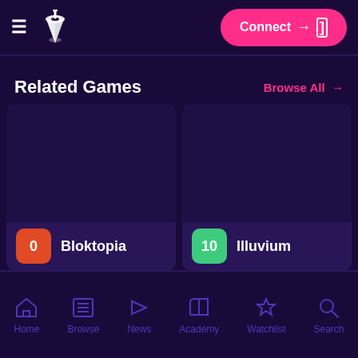Navigation bar with hamburger menu, logo, and Connect button
Related Games
Browse All →
[Figure (screenshot): Game card for Bloktopia with dark purple background, rank badge showing 0 in orange]
[Figure (screenshot): Game card for Illuvium with dark purple background, rank badge showing 10 in green]
Home  Browse  News  Academy  Watchlist  Search